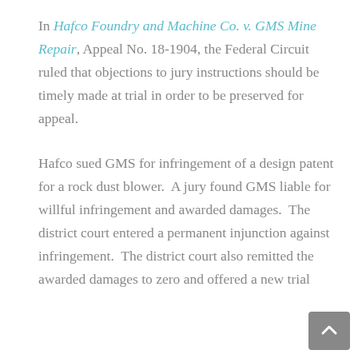In Hafco Foundry and Machine Co. v. GMS Mine Repair, Appeal No. 18-1904, the Federal Circuit ruled that objections to jury instructions should be timely made at trial in order to be preserved for appeal.
Hafco sued GMS for infringement of a design patent for a rock dust blower.  A jury found GMS liable for willful infringement and awarded damages.  The district court entered a permanent injunction against infringement.  The district court also remitted the awarded damages to zero and offered a new trial